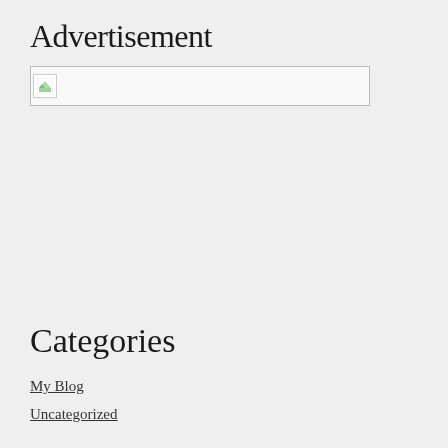Advertisement
[Figure (other): Broken/placeholder image inside an advertisement box with a border]
Categories
My Blog
Uncategorized